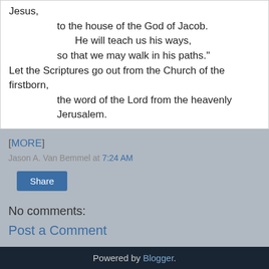Jesus,
    to the house of the God of Jacob.
        He will teach us his ways,
    so that we may walk in his paths."
Let the Scriptures go out from the Church of the firstborn,
    the word of the Lord from the heavenly Jerusalem.
[MORE]
Jason A. Van Bemmel at 7:24 AM
Share
No comments:
Post a Comment
Home
View web version
Powered by Blogger.